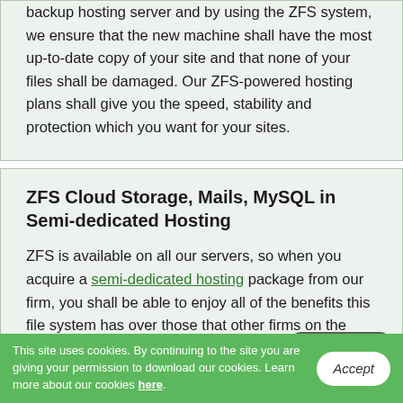backup hosting server and by using the ZFS system, we ensure that the new machine shall have the most up-to-date copy of your site and that none of your files shall be damaged. Our ZFS-powered hosting plans shall give you the speed, stability and protection which you want for your sites.
ZFS Cloud Storage, Mails, MySQL in Semi-dedicated Hosting
ZFS is available on all our servers, so when you acquire a semi-dedicated hosting package from our firm, you shall be able to enjoy all of the benefits this file system has over those that other firms on the web hosting market use. We have employed ZFS for the storage of files, databases and
This site uses cookies. By continuing to the site you are giving your permission to download our cookies. Learn more about our cookies here.